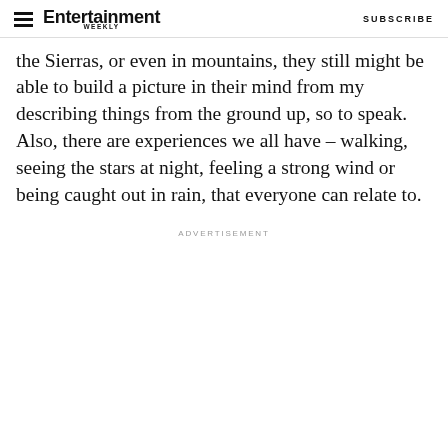Entertainment Weekly — SUBSCRIBE
the Sierras, or even in mountains, they still might be able to build a picture in their mind from my describing things from the ground up, so to speak. Also, there are experiences we all have – walking, seeing the stars at night, feeling a strong wind or being caught out in rain, that everyone can relate to.
ADVERTISEMENT